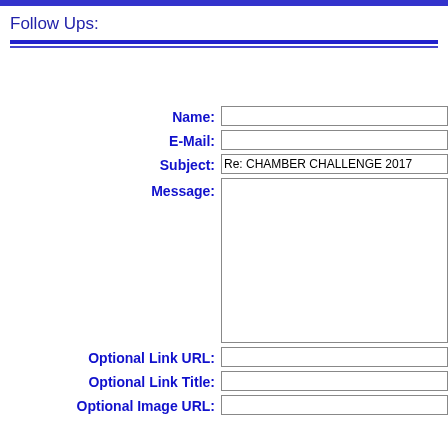Follow Ups:
Name: [input field]
E-Mail: [input field]
Subject: Re: CHAMBER CHALLENGE 2017
Message: [textarea]
Optional Link URL: [input field]
Optional Link Title: [input field]
Optional Image URL: [input field]